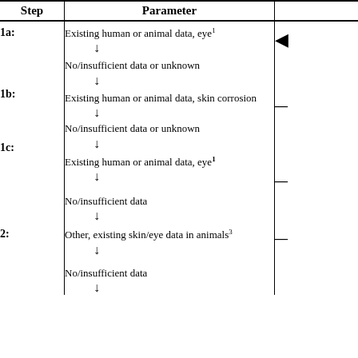| Step | Parameter |  |
| --- | --- | --- |
| 1a: | Existing human or animal data, eye¹
↓
No/insufficient data or unknown | ◁ |
| 1b: | ↓
Existing human or animal data, skin corrosion
↓
No/insufficient data or unknown | — |
| 1c: | ↓
Existing human or animal data, eye¹
↓

No/insufficient data
↓ | — |
| 2: | Other, existing skin/eye data in animals³
↓

No/insufficient data
↓ | — |